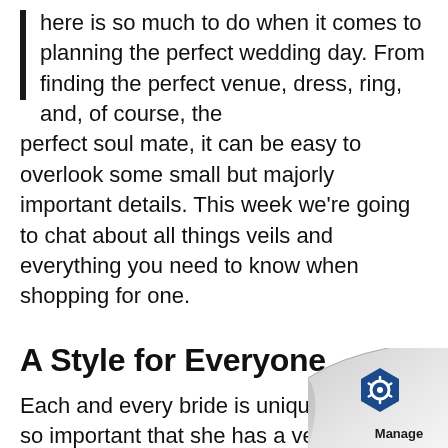here is so much to do when it comes to planning the perfect wedding day. From finding the perfect venue, dress, ring, and, of course, the perfect soul mate, it can be easy to overlook some small but majorly important details. This week we're going to chat about all things veils and everything you need to know when shopping for one.
A Style for Everyone
Each and every bride is unique, and it's so important that she has a veil that will express her special qualities. Here we will break down the different lengths, styles, and looks you can rock on your special day.
We chatted with Castle Couture's Accessories M... Cathy Fratangelo, to see what advice she had t...
[Figure (logo): Manage logo overlay with page curl effect in bottom-right corner]